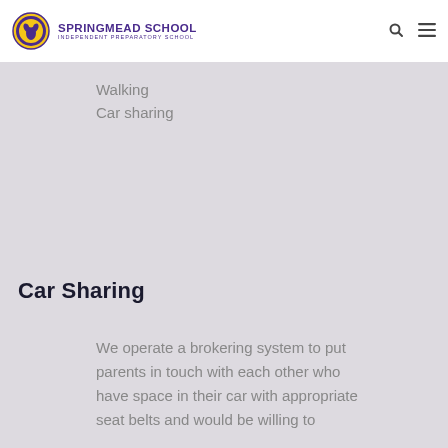SPRINGMEAD SCHOOL INDEPENDENT PREPARATORY SCHOOL
Walking
Car sharing
Car Sharing
We operate a brokering system to put parents in touch with each other who have space in their car with appropriate seat belts and would be willing to